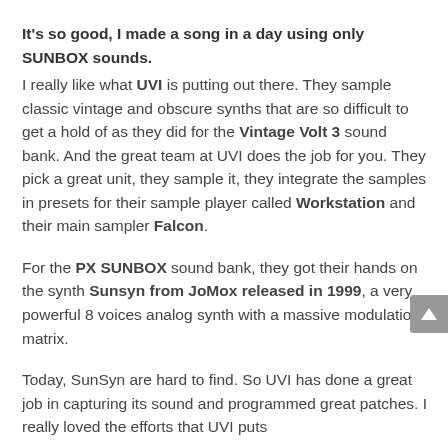It's so good, I made a song in a day using only SUNBOX sounds.
I really like what UVI is putting out there. They sample classic vintage and obscure synths that are so difficult to get a hold of as they did for the Vintage Volt 3 sound bank. And the great team at UVI does the job for you. They pick a great unit, they sample it, they integrate the samples in presets for their sample player called Workstation and their main sampler Falcon.
For the PX SUNBOX sound bank, they got their hands on the synth Sunsyn from JoMox released in 1999, a very powerful 8 voices analog synth with a massive modulation matrix.
Today, SunSyn are hard to find. So UVI has done a great job in capturing its sound and programmed great patches. I really loved the efforts that UVI puts